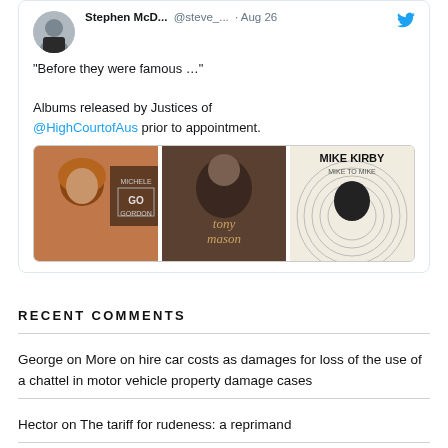[Figure (screenshot): Tweet by Stephen McD... (@steve_...) dated Aug 26 with text: 'Before they were famous …' Albums released by Justices of @HighCourtofAus prior to appointment. Shows three album cover images.]
RECENT COMMENTS
George on More on hire car costs as damages for loss of the use of a chattel in motor vehicle property damage cases
Hector on The tariff for rudeness: a reprimand
Stephen Warne on The tariff for rudeness: a reprimand